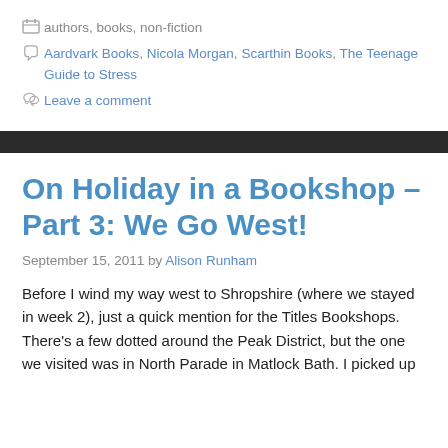authors, books, non-fiction
Aardvark Books, Nicola Morgan, Scarthin Books, The Teenage Guide to Stress
Leave a comment
On Holiday in a Bookshop – Part 3: We Go West!
September 15, 2011 by Alison Runham
Before I wind my way west to Shropshire (where we stayed in week 2), just a quick mention for the Titles Bookshops. There's a few dotted around the Peak District, but the one we visited was in North Parade in Matlock Bath. I picked up